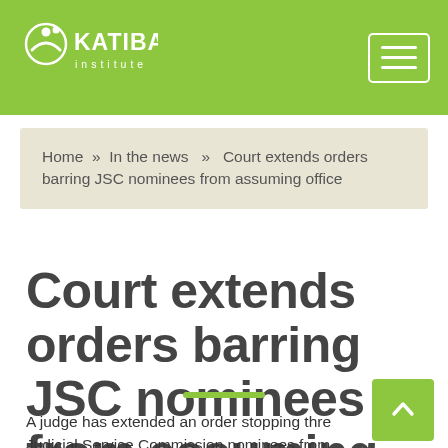Katiba Institute
Home » In the news » Court extends orders barring JSC nominees from assuming office
Court extends orders barring JSC nominees from assuming office
A judge has extended an order stopping three Judicial Service Commission nominees from assuming office